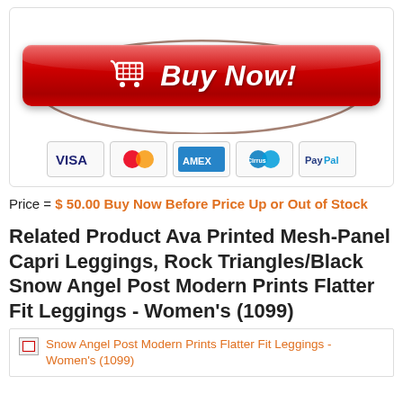[Figure (other): Red 'Buy Now' button with shopping cart icon, surrounded by an oval stroke, and payment method icons (Visa, Mastercard, Amex, Cirrus, PayPal) below]
Price = $ 50.00 Buy Now Before Price Up or Out of Stock
Related Product Ava Printed Mesh-Panel Capri Leggings, Rock Triangles/Black Snow Angel Post Modern Prints Flatter Fit Leggings - Women's (1099)
[Figure (other): Broken image placeholder for: Snow Angel Post Modern Prints Flatter Fit Leggings - Women's (1099)]